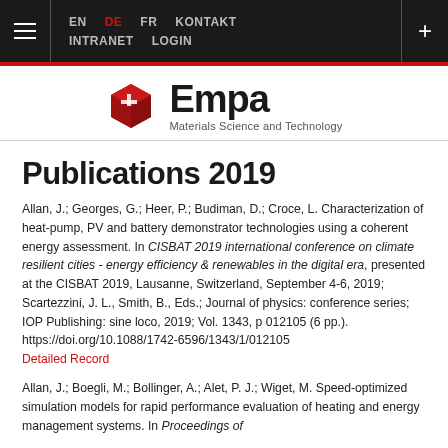EN  DE  FR  KONTAKT  INTRANET  LOGIN
[Figure (logo): Empa logo with red cube icon and text 'Empa Materials Science and Technology']
Publications 2019
Allan, J.; Georges, G.; Heer, P.; Budiman, D.; Croce, L. Characterization of heat-pump, PV and battery demonstrator technologies using a coherent energy assessment. In CISBAT 2019 international conference on climate resilient cities - energy efficiency & renewables in the digital era, presented at the CISBAT 2019, Lausanne, Switzerland, September 4-6, 2019; Scartezzini, J. L., Smith, B., Eds.; Journal of physics: conference series; IOP Publishing: sine loco, 2019; Vol. 1343, p 012105 (6 pp.). https://doi.org/10.1088/1742-6596/1343/1/012105 Detailed Record
Allan, J.; Boegli, M.; Bollinger, A.; Alet, P. J.; Wiget, M. Speed-optimized simulation models for rapid performance evaluation of heating and energy management systems. In Proceedings of...